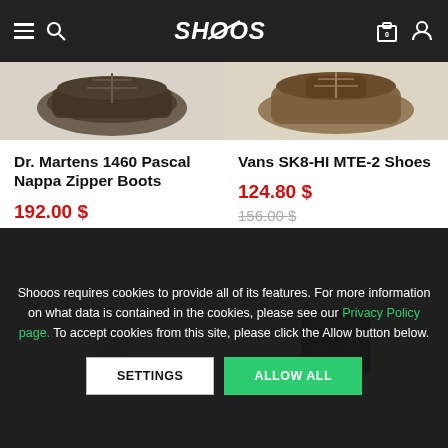SHOOOS - navigation header with hamburger menu, search, logo, cart (0), user icon
[Figure (photo): Dr. Martens 1460 Pascal Nappa Zipper Boots product image (dark green/olive boot, partial view from top)]
[Figure (photo): Vans SK8-HI MTE-2 Shoes product image (brown/tan high-top shoe, partial view from top)]
Dr. Martens 1460 Pascal Nappa Zipper Boots
192.00 $
240.00 $
Vans SK8-HI MTE-2 Shoes
124.80 $
156.00 $
[Figure (photo): Person wearing white t-shirt (partial product image lower section)]
[Figure (photo): Black shoe/boot product (partial view lower section)]
Shooos requires cookies to provide all of its features. For more information on what data is contained in the cookies, please see our Privacy Policy page. To accept cookies from this site, please click the Allow button below.
SETTINGS
ALLOW ALL